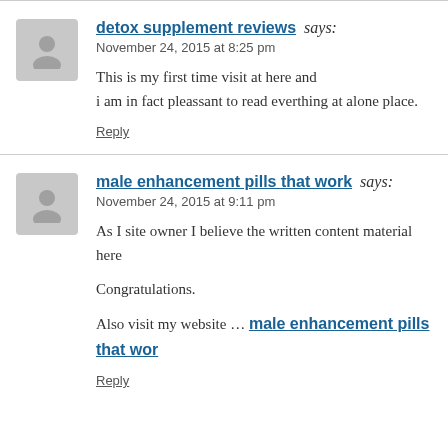detox supplement reviews says:
November 24, 2015 at 8:25 pm
This is my first time visit at here and i am in fact pleassant to read everthing at alone place.
Reply
male enhancement pills that work says:
November 24, 2015 at 9:11 pm
As I site owner I believe the written content material here
Congratulations.
Also visit my website … male enhancement pills that wor
Reply